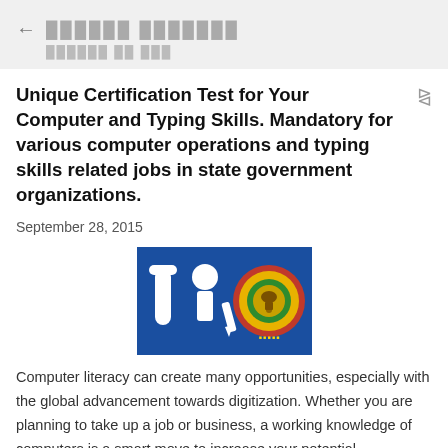← ██████ ███████
██████ ██ ███
Unique Certification Test for Your Computer and Typing Skills. Mandatory for various computer operations and typing skills related jobs in state government organizations.
September 28, 2015
[Figure (logo): Blue rectangular logo with white stylized IT/typing icons on the left and a circular government emblem (seal) on the right with red and yellow border]
Computer literacy can create many opportunities, especially with the global advancement towards digitization. Whether you are planning to take up a job or business, a working knowledge of computers is a smart move to increase your potential.